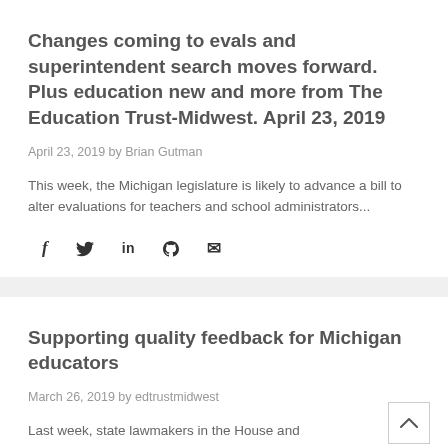Changes coming to evals and superintendent search moves forward. Plus education new and more from The Education Trust-Midwest. April 23, 2019
April 23, 2019 by Brian Gutman
This week, the Michigan legislature is likely to advance a bill to alter evaluations for teachers and school administrators...
[Figure (infographic): Social sharing icons: Facebook (f), Twitter (bird), LinkedIn (in), Pinterest (P), Email (envelope)]
Supporting quality feedback for Michigan educators
March 26, 2019 by edtrustmidwest
Last week, state lawmakers in the House and